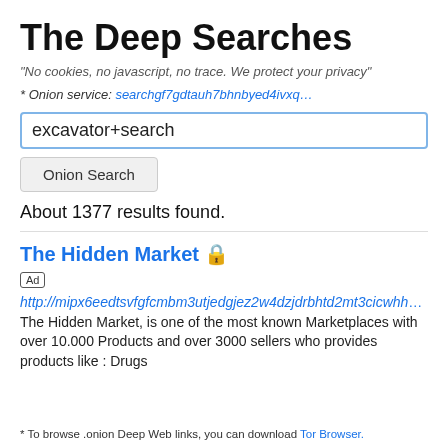The Deep Searches
"No cookies, no javascript, no trace. We protect your privacy"
* Onion service: searchgf7gdtauh7bhnbyed4ivxq…
excavator+search
Onion Search
About 1377 results found.
The Hidden Market 🔒
Ad
http://mipx6eedtsvfgfcmbm3utjedgjez2w4dzjdrbhtd2mt3cicwhhzs…
The Hidden Market, is one of the most known Marketplaces with over 10.000 Products and over 3000 sellers who provides products like : Drugs
* To browse .onion Deep Web links, you can download Tor Browser.